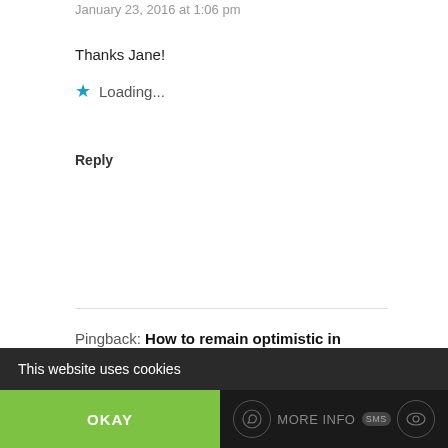January 23, 2016 at 1:06 pm
Thanks Jane!
★ Loading...
Reply
Pingback: How to remain optimistic in winter: Head South | tightlinesandsunshine
This website uses cookies
OKAY
MORE INFO